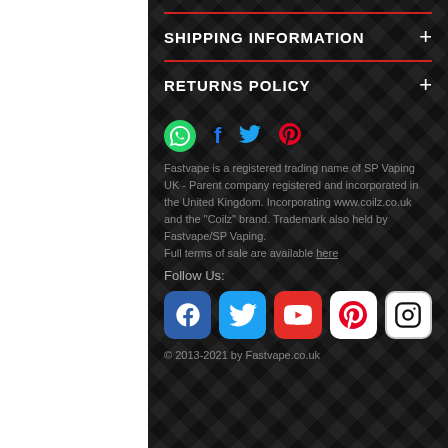SHIPPING INFORMATION
RETURNS POLICY
Fastvape is a registered trading name of SP Vaping UK - Parent company registered and incorporated in the United Kingdom. Incorporating www.coilz.co.uk and the "Coilz" brand. Trademark also held by Fastvape/SP Vaping.
Full terms of sale are available here
Follow Us:
© 2013-2021 by Fastvape.co.uk